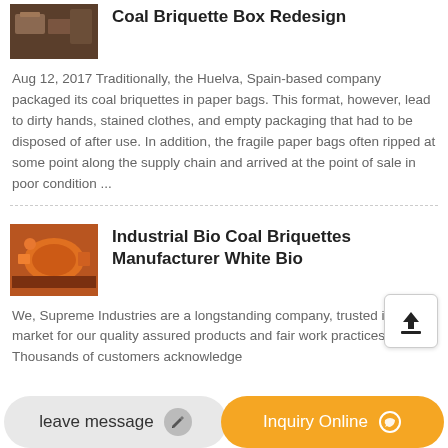[Figure (photo): Small thumbnail photo of coal briquettes/wooden furniture in a dark room]
Coal Briquette Box Redesign
Aug 12, 2017 Traditionally, the Huelva, Spain-based company packaged its coal briquettes in paper bags. This format, however, lead to dirty hands, stained clothes, and empty packaging that had to be disposed of after use. In addition, the fragile paper bags often ripped at some point along the supply chain and arrived at the point of sale in poor condition ...
[Figure (photo): Industrial orange/red cylindrical machinery or tank]
Industrial Bio Coal Briquettes Manufacturer White Bio
We, Supreme Industries are a longstanding company, trusted in the market for our quality assured products and fair work practices. Thousands of customers acknowledge
leave message
Inquiry Online